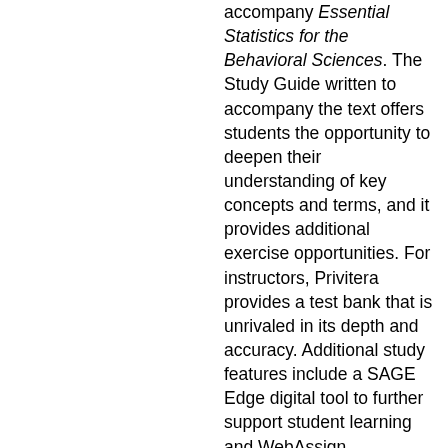accompany Essential Statistics for the Behavioral Sciences. The Study Guide written to accompany the text offers students the opportunity to deepen their understanding of key concepts and terms, and it provides additional exercise opportunities. For instructors, Privitera provides a test bank that is unrivaled in its depth and accuracy. Additional study features include a SAGE Edge digital tool to further support student learning and WebAssign.